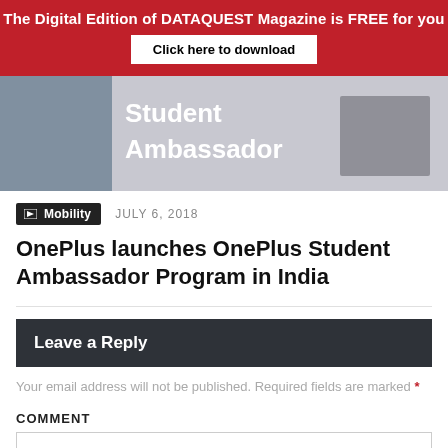The Digital Edition of DATAQUEST Magazine is FREE for you
Click here to download
[Figure (photo): Photo strip showing 'Student Ambassador' text overlay on a photo background]
Mobility   JULY 6, 2018
OnePlus launches OnePlus Student Ambassador Program in India
Leave a Reply
Your email address will not be published. Required fields are marked *
COMMENT